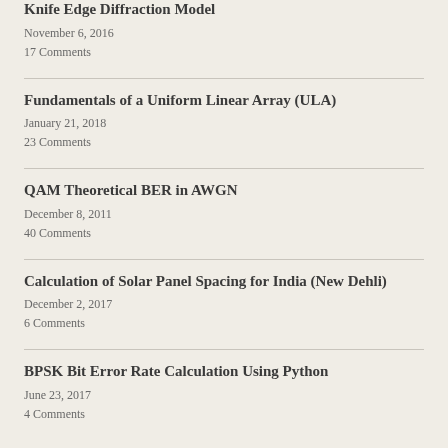Knife Edge Diffraction Model
November 6, 2016
17 Comments
Fundamentals of a Uniform Linear Array (ULA)
January 21, 2018
23 Comments
QAM Theoretical BER in AWGN
December 8, 2011
40 Comments
Calculation of Solar Panel Spacing for India (New Dehli)
December 2, 2017
6 Comments
BPSK Bit Error Rate Calculation Using Python
June 23, 2017
4 Comments